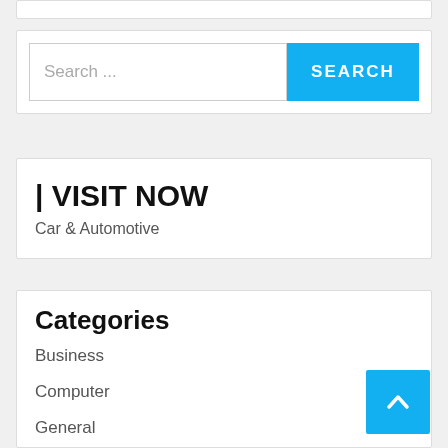[Figure (screenshot): Search bar with text input showing 'Search ...' placeholder and a blue 'SEARCH' button]
| VISIT NOW
Car & Automotive
Categories
Business
Computer
General
Internet
Programming